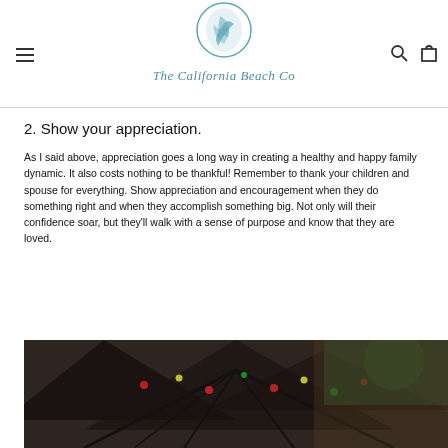The California Beach Co
2. Show your appreciation.
As I said above, appreciation goes a long way in creating a healthy and happy family dynamic. It also costs nothing to be thankful! Remember to thank your children and spouse for everything. Show appreciation and encouragement when they do something right and when they accomplish something big. Not only will their confidence soar, but they'll walk with a sense of purpose and know that they are loved.
[Figure (photo): Photo of an outdoor patio or garden setting with Christmas tree lights and holiday decorations, dark tones with festive red ornaments visible]